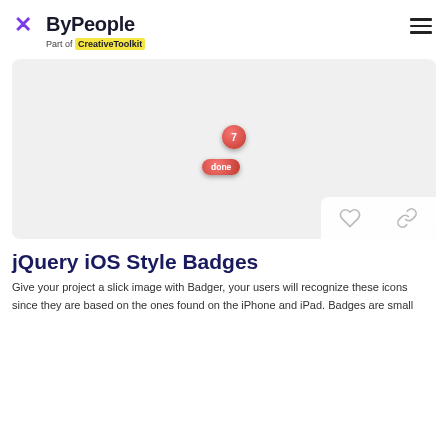ByPeople — Part of CreativeToolkit
[Figure (screenshot): Preview area showing two iOS-style badge elements on a light gray background: a red circle badge with the number 7, and a red pill-shaped badge labeled 'done'. A white action bar at the bottom right shows a heart icon and a link icon.]
jQuery iOS Style Badges
Give your project a slick image with Badger, your users will recognize these icons since they are based on the ones found on the iPhone and iPad. Badges are small